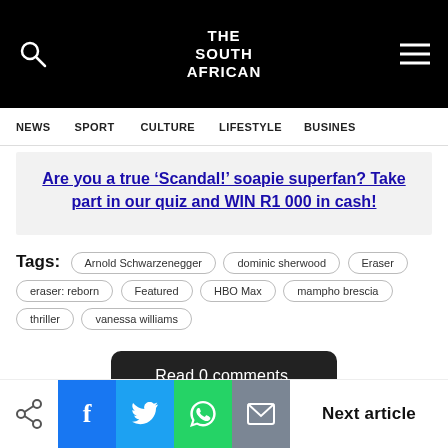THE SOUTH AFRICAN
NEWS  SPORT  CULTURE  LIFESTYLE  BUSINESS
Are you a true ‘Scandal!’ soapie superfan? Take part in our quiz and WIN R1 000 in cash!
Tags: Arnold Schwarzenegger  dominic sherwood  Eraser  eraser: reborn  Featured  HBO Max  mampho brescia  thriller  vanessa williams
Read 0 comments.
Next article